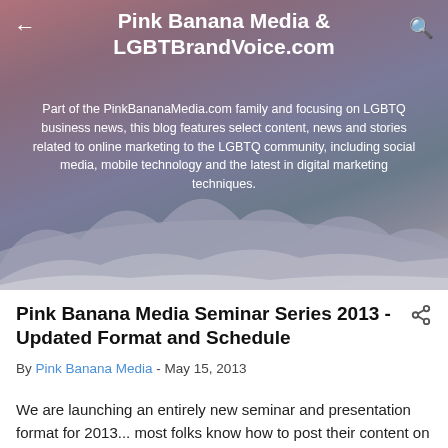Pink Banana Media & LGBTBrandVoice.com
Part of the PinkBananaMedia.com family and focusing on LGBTQ business news, this blog features select content, news and stories related to online marketing to the LGBTQ community, including social media, mobile technology and the latest in digital marketing techniques.
Pink Banana Media Seminar Series 2013 - Updated Format and Schedule
By Pink Banana Media - May 15, 2013
We are launching an entirely new seminar and presentation format for 2013... most folks know how to post their content on Facebook, Twitter and LinkedIn now.  Our presentation format for this seminar series and system of a portion of the